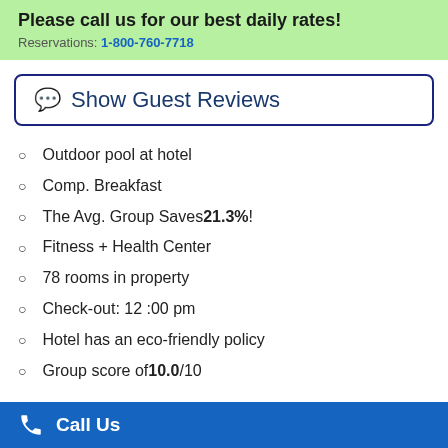Please call us for our best daily rates!
Reservations: 1-800-760-7718
Show Guest Reviews
Outdoor pool at hotel
Comp. Breakfast
The Avg. Group Saves 21.3%!
Fitness + Health Center
78 rooms in property
Check-out: 12 :00 pm
Hotel has an eco-friendly policy
Group score of 10.0/10
Call Us